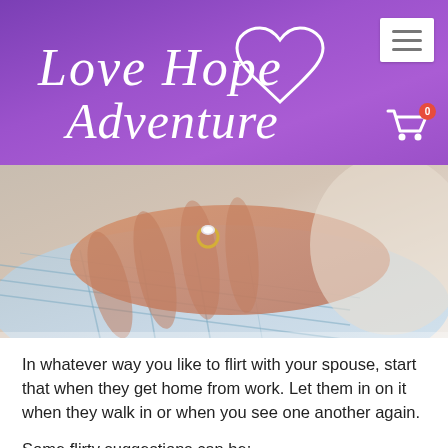Love Hope Adventure
[Figure (photo): Close-up photo of a woman's hand with an engagement ring resting on a man's shoulder wearing a plaid shirt]
In whatever way you like to flirt with your spouse, start that when they get home from work. Let them in on it when they walk in or when you see one another again.
Some flirty suggestions can be:
Pinch their butt
Kiss them on the neck